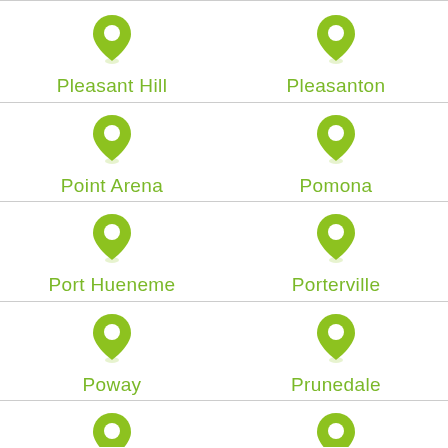[Figure (illustration): Green map pin icon]
Pleasant Hill
[Figure (illustration): Green map pin icon]
Pleasanton
[Figure (illustration): Green map pin icon]
Point Arena
[Figure (illustration): Green map pin icon]
Pomona
[Figure (illustration): Green map pin icon]
Port Hueneme
[Figure (illustration): Green map pin icon]
Porterville
[Figure (illustration): Green map pin icon]
Poway
[Figure (illustration): Green map pin icon]
Prunedale
[Figure (illustration): Green map pin icon (partial)]
[Figure (illustration): Green map pin icon (partial)]